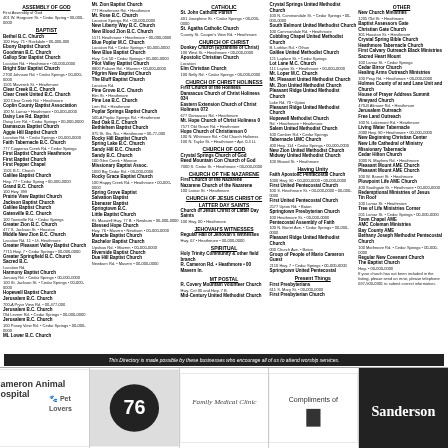Church directory listing - multiple columns of church names, addresses, and contact information for churches in the Cameron/Milam County area
This Directory is made possible by these businesses who encourage all of us to attend worship services.
[Figure (infographic): Cameron Animal Hospital & Pet Lovers advertisement]
[Figure (infographic): 76 gas station advertisement]
[Figure (infographic): Family Medical Clinic advertisement]
[Figure (infographic): Compliments of advertisement]
[Figure (infographic): Sanderson advertisement]